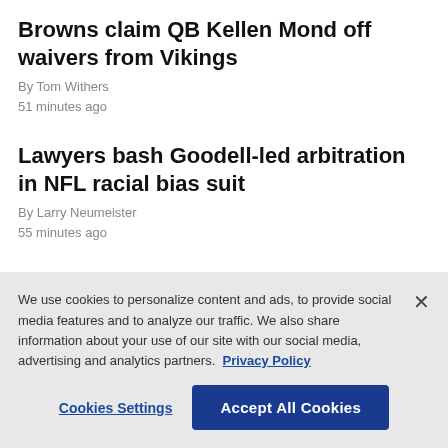Browns claim QB Kellen Mond off waivers from Vikings
By Tom Withers
51 minutes ago
Lawyers bash Goodell-led arbitration in NFL racial bias suit
By Larry Neumeister
55 minutes ago
Raiders' Waller signs with new agents in search of new deal
We use cookies to personalize content and ads, to provide social media features and to analyze our traffic. We also share information about your use of our site with our social media, advertising and analytics partners. Privacy Policy
Cookies Settings | Accept All Cookies